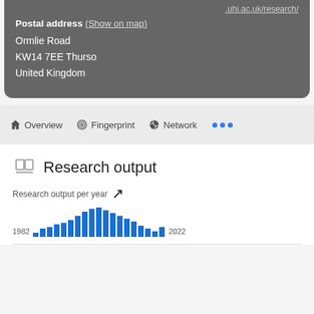.uhi.ac.uk/research/
Postal address (Show on map)
Ormlie Road
KW14 7EE Thurso
United Kingdom
Overview  Fingerprint  Network  ...
Research output
[Figure (bar-chart): Research output per year]